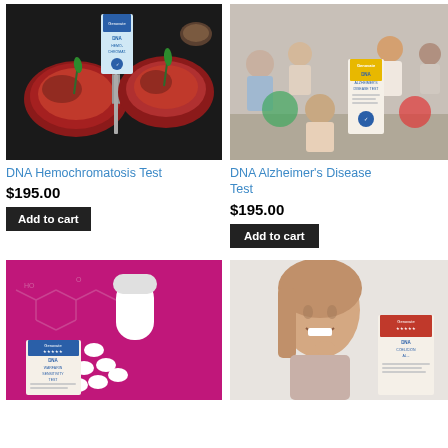[Figure (photo): DNA Hemochromatosis Test product box on dark background with steaks and rosemary]
DNA Hemochromatosis Test
$195.00
Add to cart
[Figure (photo): DNA Alzheimer's Disease Test product box with older people exercising in background]
DNA Alzheimer's Disease Test
$195.00
Add to cart
[Figure (photo): DNA Warfarin Sensitivity Test product box on magenta background with pills and chemical structure]
[Figure (photo): Woman smiling holding supplement with DNA Coelicion test product box]